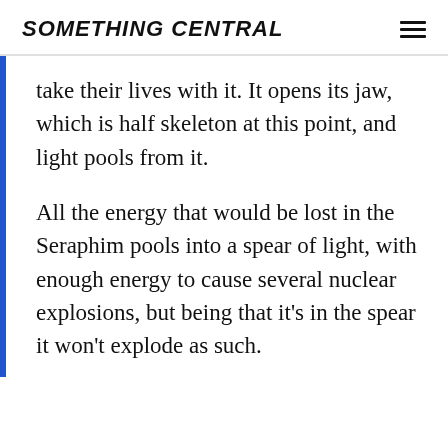SOMETHING CENTRAL
take their lives with it. It opens its jaw, which is half skeleton at this point, and light pools from it.
All the energy that would be lost in the Seraphim pools into a spear of light, with enough energy to cause several nuclear explosions, but being that it’s in the spear it won’t explode as such.